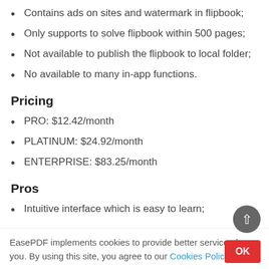Contains ads on sites and watermark in flipbook;
Only supports to solve flipbook within 500 pages;
Not available to publish the flipbook to local folder;
No available to many in-app functions.
Pricing
PRO: $12.42/month
PLATINUM: $24.92/month
ENTERPRISE: $83.25/month
Pros
Intuitive interface which is easy to learn;
EasePDF implements cookies to provide better services for you. By using this site, you agree to our Cookies Policy.